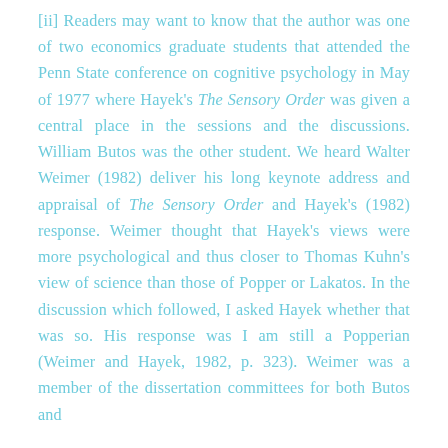[ii] Readers may want to know that the author was one of two economics graduate students that attended the Penn State conference on cognitive psychology in May of 1977 where Hayek's The Sensory Order was given a central place in the sessions and the discussions. William Butos was the other student. We heard Walter Weimer (1982) deliver his long keynote address and appraisal of The Sensory Order and Hayek's (1982) response. Weimer thought that Hayek's views were more psychological and thus closer to Thomas Kuhn's view of science than those of Popper or Lakatos. In the discussion which followed, I asked Hayek whether that was so. His response was I am still a Popperian (Weimer and Hayek, 1982, p. 323). Weimer was a member of the dissertation committees for both Butos and